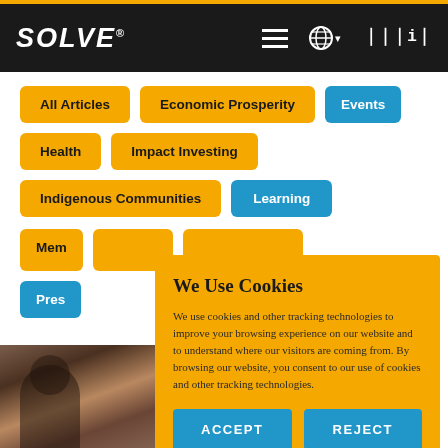SOLVE® | MIT | Navigation
All Articles
Economic Prosperity
Events
Health
Impact Investing
Indigenous Communities
Learning
Mem[bers]
Pres[s]
We Use Cookies
We use cookies and other tracking technologies to improve your browsing experience on our website and to understand where our visitors are coming from. By browsing our website, you consent to our use of cookies and other tracking technologies.
ACCEPT
REJECT